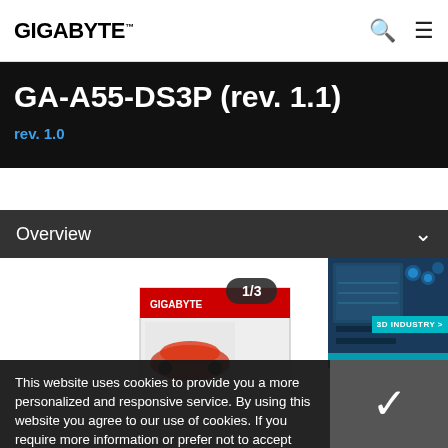GIGABYTE
GA-A55-DS3P (rev. 1.1)
rev. 1.0
Overview
[Figure (screenshot): Product image slideshow showing GIGABYTE box packaging and 3D motherboard render, slide 1 of 3]
This website uses cookies to provide you a more personalized and responsive service. By using this website you agree to our use of cookies. If you require more information or prefer not to accept cookies please visit our Privacy Policy